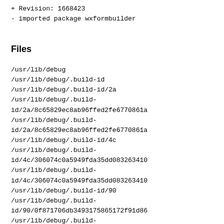+ Revision: 1668423
- imported package wxformbuilder
Files
/usr/lib/debug
/usr/lib/debug/.build-id
/usr/lib/debug/.build-id/2a
/usr/lib/debug/.build-id/2a/8c65829ec8ab96ffed2fe6770861a
/usr/lib/debug/.build-id/2a/8c65829ec8ab96ffed2fe6770861a
/usr/lib/debug/.build-id/4c
/usr/lib/debug/.build-id/4c/306074c0a5949fda35dd083263410
/usr/lib/debug/.build-id/4c/306074c0a5949fda35dd083263410
/usr/lib/debug/.build-id/90
/usr/lib/debug/.build-id/90/0f871706db3493175865172f91d86
/usr/lib/debug/.build-id/90/0f871706db3493175865172f91d86
/usr/lib/debug/.build-id/93
/usr/lib/debug/.build-id/93/973291a36eb024ae4a88926951a2c
/usr/lib/debug/.build-id/93/973291a36eb024ae4a88926951a2c
/usr/lib/debug/.build-id/a5
/usr/lib/debug/.build-id/a5/434f38633fa97f9f33597d019ffb2
/usr/lib/debug/.build-id/a5/434f38633fa97f9f33597d019ffb2
/usr/lib/debug/.build-id/e0
/usr/lib/debug/.build-id/e0/63fb5885f16839f34b54e5eadb71c
/usr/lib/debug/.build-id/e0/63fb5885f16839f34b54e5eadb71c
/usr/lib/debug/.dwz
/usr/lib/debug/.dwz/wxformbuilder-3.9.0-1.git20201102.2.1
/usr/lib/debug/usr